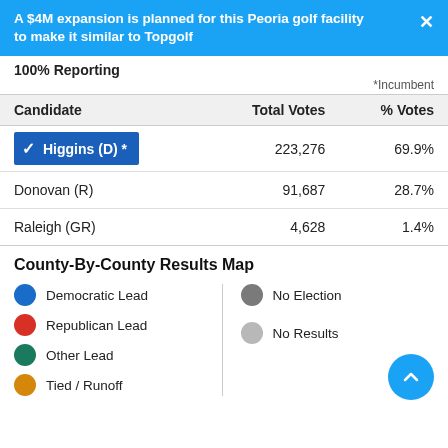A $4M expansion is planned for this Peoria golf facility to make it similar to Topgolf
100% Reporting
*Incumbent
| Candidate | Total Votes | % Votes |
| --- | --- | --- |
| Higgins (D) * | 223,276 | 69.9% |
| Donovan (R) | 91,687 | 28.7% |
| Raleigh (GR) | 4,628 | 1.4% |
County-By-County Results Map
Democratic Lead
Republican Lead
Other Lead
Tied / Runoff
No Election
No Results